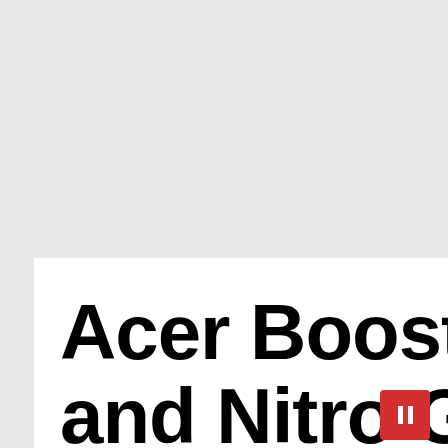Acer Boosts Predator and Nitro Gaming Monitor Portfolio with Three New High Refresh